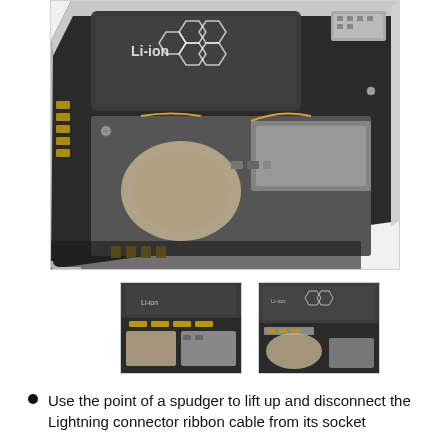[Figure (photo): Close-up photo of iPhone internal components showing Li-ion battery, logic board, connectors, and shielding components. The phone's internal structure is visible with the back case partially open showing circuitry.]
[Figure (photo): Smaller thumbnail photo showing internal view of iPhone with circuit board components and connectors close up.]
[Figure (photo): Second thumbnail photo showing internal view of iPhone with battery and logic board visible from a slightly different angle.]
Use the point of a spudger to lift up and disconnect the Lightning connector ribbon cable from its socket